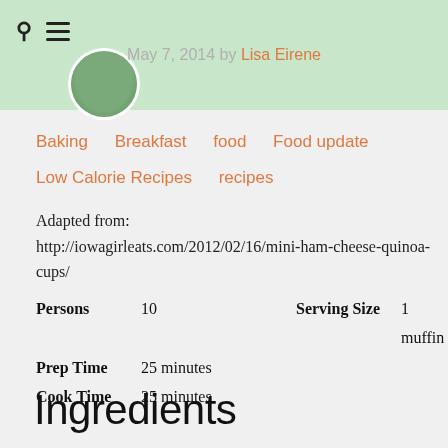May 7, 2014 by Lisa Eirene
Baking   Breakfast   food   Food update   Low Calorie Recipes   recipes
Adapted from: http://iowagirleats.com/2012/02/16/mini-ham-cheese-quinoa-cups/
| Persons | 10 | Serving Size | 1 muffin |
| Prep Time | 25 minutes |  |  |
| Cook Time | 25 minutes |  |  |
Ingredients